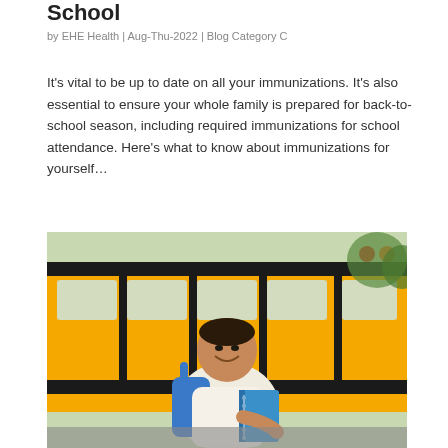School
by EHE Health | Aug-Thu-2022 | Blog Category C
It's vital to be up to date on all your immunizations. It's also essential to ensure your whole family is prepared for back-to-school season, including required immunizations for school attendance. Here's what to know about immunizations for yourself…
[Figure (photo): A smiling young boy with a blue backpack and blue notebook standing in front of a yellow school bus]